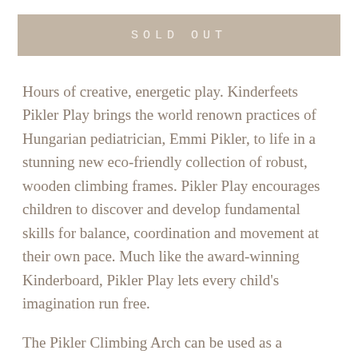SOLD OUT
Hours of creative, energetic play. Kinderfeets Pikler Play brings the world renown practices of Hungarian pediatrician, Emmi Pikler, to life in a stunning new eco-friendly collection of robust, wooden climbing frames. Pikler Play encourages children to discover and develop fundamental skills for balance, coordination and movement at their own pace. Much like the award-winning Kinderboard, Pikler Play lets every child's imagination run free.
The Pikler Climbing Arch can be used as a climbing arch, bridge or rocker; either on its own or a base station for attaching a ramp or Kinderboard.